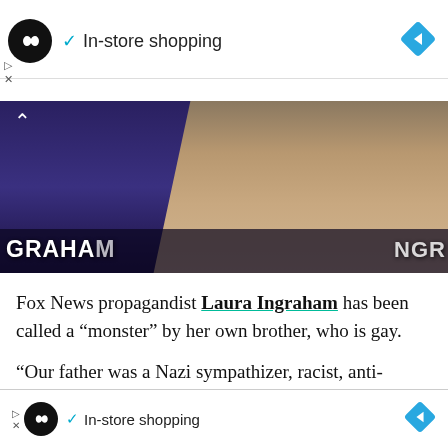[Figure (screenshot): Top advertisement banner with circular logo, checkmark, 'In-store shopping' text, and blue diamond arrow icon]
[Figure (screenshot): Video thumbnail showing a blonde woman on a TV news set. Text 'GRAHAM' visible on left lower third, partial text on right. Dark background with news studio lighting.]
Fox News propagandist Laura Ingraham has been called a “monster” by her own brother, who is gay.
“Our father was a Nazi sympathizer, racist, anti-Semite and homophobe,” Curtis Ingraham wrote, as NBC News reported in 2018. “Like father like
[Figure (screenshot): Bottom advertisement banner identical to top, with circular logo, checkmark, 'In-store shopping' text, and blue diamond arrow icon]